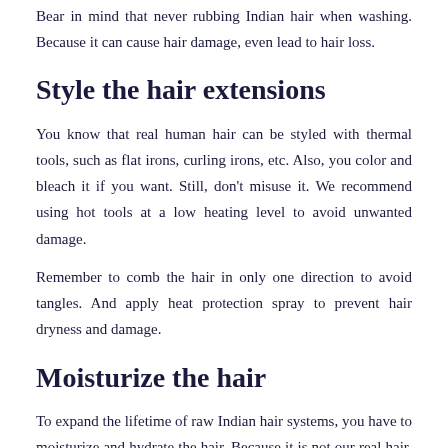Bear in mind that never rubbing Indian hair when washing. Because it can cause hair damage, even lead to hair loss.
Style the hair extensions
You know that real human hair can be styled with thermal tools, such as flat irons, curling irons, etc. Also, you color and bleach it if you want. Still, don't misuse it. We recommend using hot tools at a low heating level to avoid unwanted damage.
Remember to comb the hair in only one direction to avoid tangles. And apply heat protection spray to prevent hair dryness and damage.
Moisturize the hair
To expand the lifetime of raw Indian hair systems, you have to moisturize and hydrate the hair. Because it is not our real hair, you have to add more moisture to it.